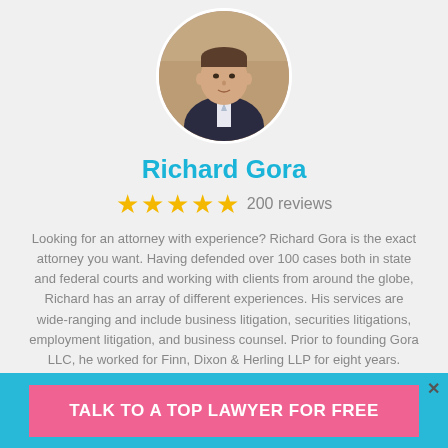[Figure (photo): Circular profile photo of Richard Gora, a man in a dark pinstripe suit and light tie, photographed outdoors]
Richard Gora
★★★★★ 200 reviews
Looking for an attorney with experience? Richard Gora is the exact attorney you want. Having defended over 100 cases both in state and federal courts and working with clients from around the globe, Richard has an array of different experiences. His services are wide-ranging and include business litigation, securities litigations, employment litigation, and business counsel. Prior to founding Gora LLC, he worked for Finn, Dixon & Herling LLP for eight years.
TALK TO A TOP LAWYER FOR FREE